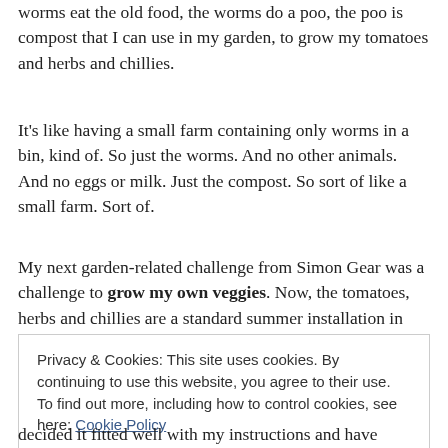worms eat the old food, the worms do a poo, the poo is compost that I can use in my garden, to grow my tomatoes and herbs and chillies.
It's like having a small farm containing only worms in a bin, kind of. So just the worms. And no other animals. And no eggs or milk. Just the compost. So sort of like a small farm. Sort of.
My next garden-related challenge from Simon Gear was a challenge to grow my own veggies. Now, the tomatoes, herbs and chillies are a standard summer installation in
Privacy & Cookies: This site uses cookies. By continuing to use this website, you agree to their use.
To find out more, including how to control cookies, see here: Cookie Policy
decided it fitted well with my instructions and have ordered